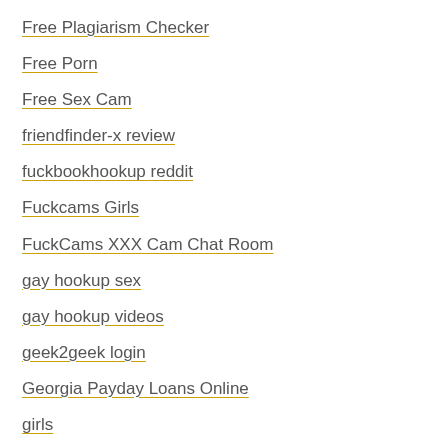Free Plagiarism Checker
Free Porn
Free Sex Cam
friendfinder-x review
fuckbookhookup reddit
Fuckcams Girls
FuckCams XXX Cam Chat Room
gay hookup sex
gay hookup videos
geek2geek login
Georgia Payday Loans Online
girls
godatenow